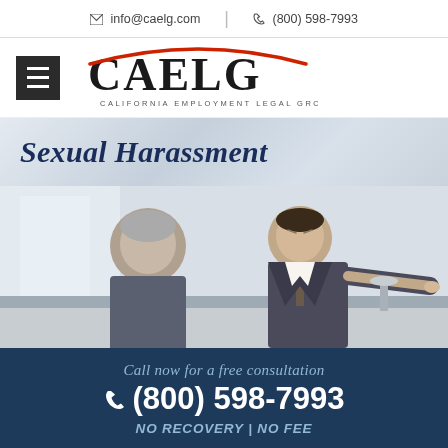✉ info@caelg.com  |  ☎ (800) 598-7993
[Figure (logo): CAELG - California Employment Legal Group logo with red arc over letters and hamburger menu icon]
Sexual Harassment
[Figure (photo): Two men in suits sitting at a table; one man pointing aggressively at the other in a confrontational manner, representing workplace harassment]
Call now for a free consultation
(800) 598-7993
NO RECOVERY | NO FEE